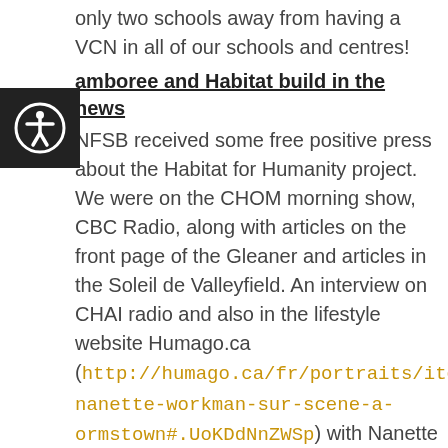only two schools away from having a VCN in all of our schools and centres!
Jamboree and Habitat build in the news
NFSB received some free positive press about the Habitat for Humanity project. We were on the CHOM morning show, CBC Radio, along with articles on the front page of the Gleaner and articles in the Soleil de Valleyfield. An interview on CHAI radio and also in the lifestyle website Humago.ca (http://humago.ca/fr/portraits/item/485-nanette-workman-sur-scene-a-ormstown#.UoKDdNnZWSp) with Nanette Workman.  And did you happen to check out the first two “Our House” videos? Go to nfsb.me and click on the Habitat button in the top right